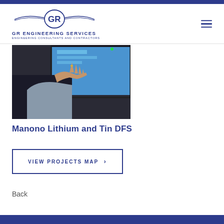[Figure (logo): GR Engineering Services logo with stylized GR letters and wing motif, company name and tagline below]
[Figure (photo): Person's hand reaching toward or touching a computer monitor/screen, showing engineering software or project data on screen]
Manono Lithium and Tin DFS
VIEW PROJECTS MAP ›
Back